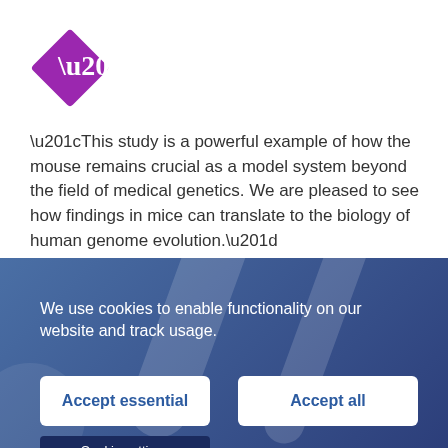[Figure (illustration): Purple diamond/rhombus shape with white quotation marks icon inside]
“This study is a powerful example of how the mouse remains crucial as a model system beyond the field of medical genetics. We are pleased to see how findings in mice can translate to the biology of human genome evolution.”
We use cookies to enable functionality on our website and track usage.
Accept essential
Accept all
Cookie settings